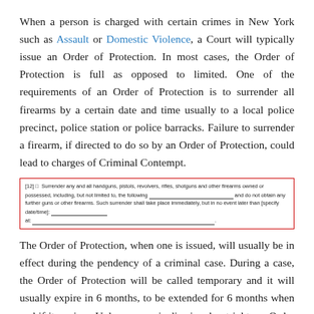When a person is charged with certain crimes in New York such as Assault or Domestic Violence, a Court will typically issue an Order of Protection. In most cases, the Order of Protection is full as opposed to limited. One of the requirements of an Order of Protection is to surrender all firearms by a certain date and time usually to a local police precinct, police station or police barracks. Failure to surrender a firearm, if directed to do so by an Order of Protection, could lead to charges of Criminal Contempt.
[Figure (other): Red-bordered box containing legal order text about surrendering firearms, with fill-in-the-blank underlines. Text reads: [12] Surrender any and all handguns, pistols, revolvers, rifles, shotguns and other firearms owned or possessed, including, but not limited to, the following ___ and do not obtain any further guns or other firearms. Such surrender shall take place immediately, but in no event later than [specify date/time]: ___ at: ___.]
The Order of Protection, when one is issued, will usually be in effect during the pendency of a criminal case. During a case, the Order of Protection will be called temporary and it will usually expire in 6 months, to be extended for 6 months when and if it expires. Unless a case is dismissed outright, an Order of